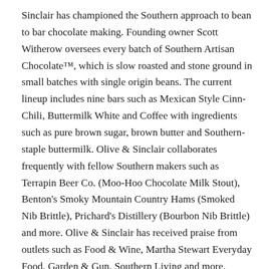Sinclair has championed the Southern approach to bean to bar chocolate making. Founding owner Scott Witherow oversees every batch of Southern Artisan Chocolate™, which is slow roasted and stone ground in small batches with single origin beans. The current lineup includes nine bars such as Mexican Style Cinn-Chili, Buttermilk White and Coffee with ingredients such as pure brown sugar, brown butter and Southern-staple buttermilk. Olive & Sinclair collaborates frequently with fellow Southern makers such as Terrapin Beer Co. (Moo-Hoo Chocolate Milk Stout), Benton's Smoky Mountain Country Hams (Smoked Nib Brittle), Prichard's Distillery (Bourbon Nib Brittle) and more. Olive & Sinclair has received praise from outlets such as Food & Wine, Martha Stewart Everyday Food, Garden & Gun, Southern Living and more. Orders may be placed online or at select retailers across the country and abroad. Olive & Sinclair is located at 1628 Fatherland Street, Nashville, Tennessee 37206. For more information, visit www.oliveandsinclair.com, or call 615-262-3007.